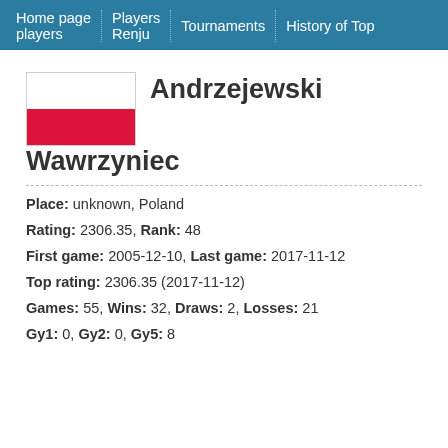Home page players | Players | Renju | Tournaments | History of Top
[Figure (illustration): Polish flag (white top half, red bottom half) next to the player name]
Andrzejewski Wawrzyniec
Place: unknown, Poland
Rating: 2306.35, Rank: 48
First game: 2005-12-10, Last game: 2017-11-12
Top rating: 2306.35 (2017-11-12)
Games: 55, Wins: 32, Draws: 2, Losses: 21
Gy1: 0, Gy2: 0, Gy5: 8